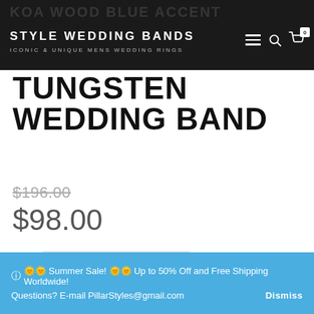STYLE WEDDING BANDS — ICONIC & UNIQUE MENS WEDDING RINGS
TUNGSTEN WEDDING BAND
$196.00 (original price, strikethrough)
$98.00
Size  Choose an option
1 (quantity)
ⓘ 🌞 Summer Sale! 🌞 Up to 50% Off and Free Shipping Worldwide! Questions? E-mail PillarStyles@gmail.com  Dismiss